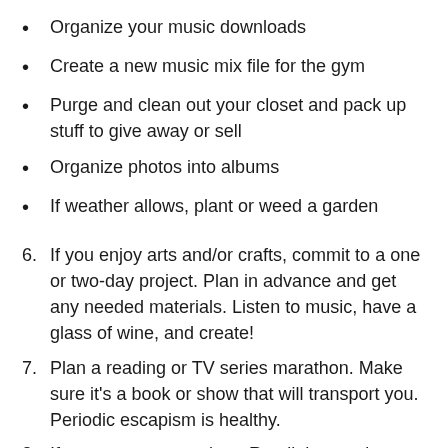Organize your music downloads
Create a new music mix file for the gym
Purge and clean out your closet and pack up stuff to give away or sell
Organize photos into albums
If weather allows, plant or weed a garden
6. If you enjoy arts and/or crafts, commit to a one or two-day project. Plan in advance and get any needed materials. Listen to music, have a glass of wine, and create!
7. Plan a reading or TV series marathon. Make sure it’s a book or show that will transport you. Periodic escapism is healthy.
8. If stores are open, shop. Retail therapy in moderation and within budget is therapeutic. You will be where people are even if you don’t know them and that might